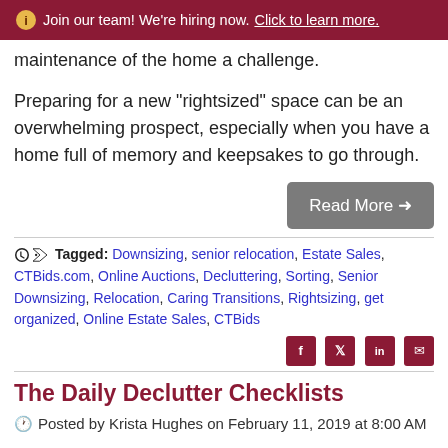Join our team! We're hiring now. Click to learn more.
maintenance of the home a challenge.
Preparing for a new "rightsized" space can be an overwhelming prospect, especially when you have a home full of memory and keepsakes to go through.
Read More →
Tagged: Downsizing, senior relocation, Estate Sales, CTBids.com, Online Auctions, Decluttering, Sorting, Senior Downsizing, Relocation, Caring Transitions, Rightsizing, get organized, Online Estate Sales, CTBids
The Daily Declutter Checklists
Posted by Krista Hughes on February 11, 2019 at 8:00 AM